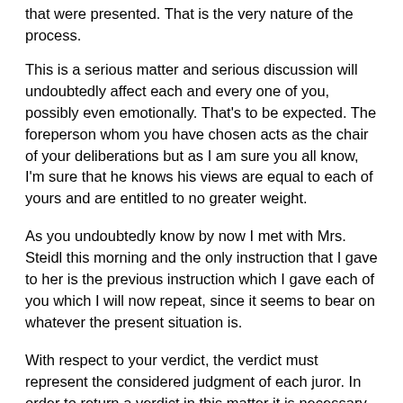that were presented. That is the very nature of the process.
This is a serious matter and serious discussion will undoubtedly affect each and every one of you, possibly even emotionally. That's to be expected. The foreperson whom you have chosen acts as the chair of your deliberations but as I am sure you all know, I'm sure that he knows his views are equal to each of yours and are entitled to no greater weight.
As you undoubtedly know by now I met with Mrs. Steidl this morning and the only instruction that I gave to her is the previous instruction which I gave each of you which I will now repeat, since it seems to bear on whatever the present situation is.
With respect to your verdict, the verdict must represent the considered judgment of each juror. In order to return a verdict in this matter it is necessary that each juror agree thereto.